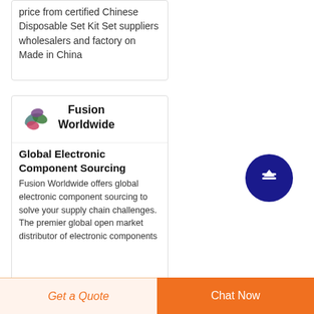price from certified Chinese Disposable Set Kit Set suppliers wholesalers and factory on Made in China
[Figure (logo): Fusion Worldwide logo — colorful teardrop shapes in pink, green, teal, and purple]
Fusion Worldwide Global Electronic Component Sourcing
Fusion Worldwide offers global electronic component sourcing to solve your supply chain challenges. The premier global open market distributor of electronic components
Get a Quote
Chat Now